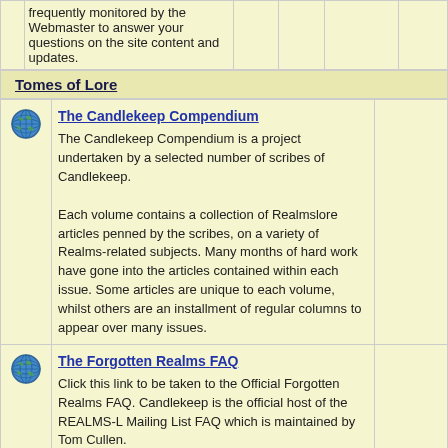| Description |  |  |  |  |
| --- | --- | --- | --- | --- |
| frequently monitored by the Webmaster to answer your questions on the site content and updates. |  |  |  |  |
Tomes of Lore
|  | Link |  |
| --- | --- | --- |
| [globe] | The Candlekeep Compendium
The Candlekeep Compendium is a project undertaken by a selected number of scribes of Candlekeep.

Each volume contains a collection of Realmslore articles penned by the scribes, on a variety of Realms-related subjects. Many months of hard work have gone into the articles contained within each issue. Some articles are unique to each volume, whilst others are an installment of regular columns to appear over many issues. |  |
| [globe] | The Forgotten Realms FAQ
Click this link to be taken to the Official Forgotten Realms FAQ. Candlekeep is the official host of the REALMS-L Mailing List FAQ which is maintained by Tom Cullen.
Many Q&A on the Realms campaign setting and on use of the REALMS-L is contained within. |  |
Board Statistics